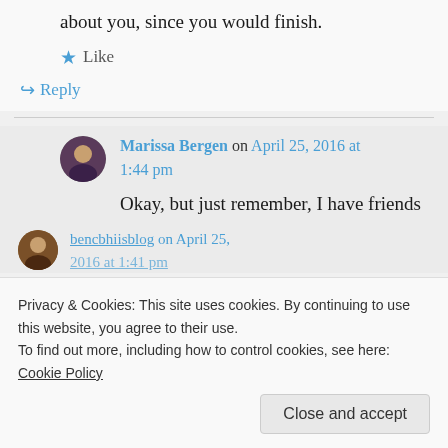out people like you so I could talk trash about you, since you would finish.
★ Like
↪ Reply
Marissa Bergen on April 25, 2016 at 1:44 pm
Okay, but just remember, I have friends in low places.
Privacy & Cookies: This site uses cookies. By continuing to use this website, you agree to their use.
To find out more, including how to control cookies, see here: Cookie Policy
Close and accept